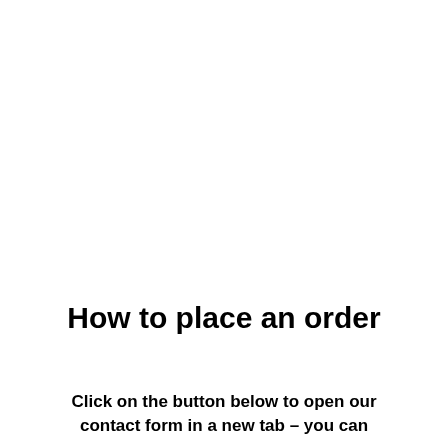How to place an order
Click on the button below to open our contact form in a new tab – you can